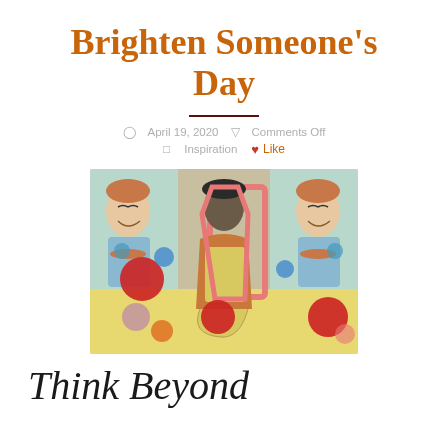Brighten Someone's Day
April 19, 2020   Comments Off   Inspiration   Like
[Figure (illustration): Mixed media artwork showing stylized women figures with colorful polka dots on a pastel background, one central figure in dark tones with a red/pink outline, others smiling and holding items]
Think Beyond